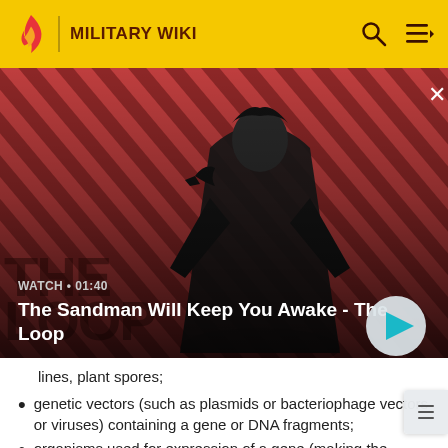MILITARY WIKI
[Figure (screenshot): Video thumbnail showing a dark-clad figure with a raven on their shoulder against a red diagonal striped background. Title reads 'The Sandman Will Keep You Awake - The Loop'. Watch duration shown as 01:40.]
WATCH • 01:40
The Sandman Will Keep You Awake - The Loop
lines, plant spores;
genetic vectors (such as plasmids or bacteriophage vectors or viruses) containing a gene or DNA fragments;
organisms used for expression of a gene (making the